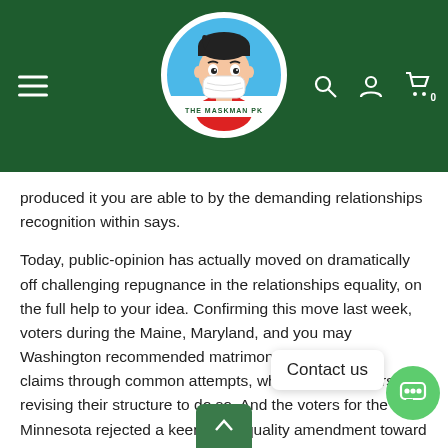The Maskman PK — website header with logo, hamburger menu, search, user, and cart icons
produced it you are able to by the demanding relationships recognition within says.
Today, public-opinion has actually moved on dramatically off challenging repugnance in the relationships equality, on the full help to your idea. Confirming this move last week, voters during the Maine, Maryland, and you may Washington recommended matrimony equality within claims through common attempts, which have Mainers revising their structure to do so. And the voters for the Minnesota rejected a keen anti-equality amendment toward county constitution, a strategy for which rivals out-of matrimony got ready to us